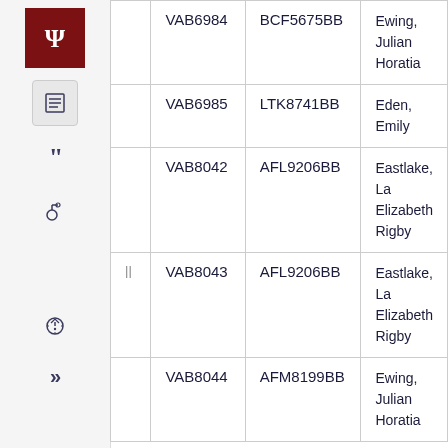[Figure (logo): Indiana University logo - crimson square with Greek letter Psi]
|  | ID | Code | Name |
| --- | --- | --- | --- |
|  | VAB6984 | BCF5675BB | Ewing, Julian Horatia |
|  | VAB6985 | LTK8741BB | Eden, Emily |
|  | VAB8042 | AFL9206BB | Eastlake, La Elizabeth Rigby |
| || | VAB8043 | AFL9206BB | Eastlake, La Elizabeth Rigby |
|  | VAB8044 | AFM8199BB | Ewing, Julian Horatia |